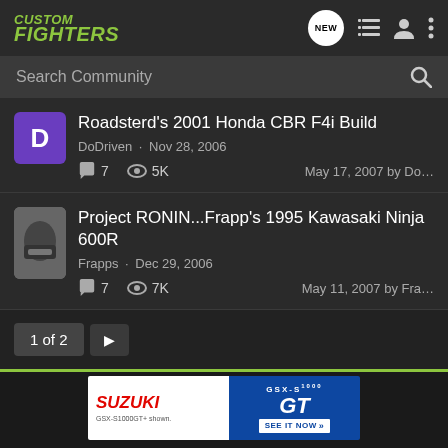CUSTOM FIGHTERS
Search Community
Roadsterd's 2001 Honda CBR F4i Build
DoDriven · Nov 28, 2006
7 comments · 5K views · May 17, 2007 by Do...
Project RONIN...Frapp's 1995 Kawasaki Ninja 600R
Frapps · Dec 29, 2006
7 comments · 7K views · May 11, 2007 by Fra...
1 of 2
[Figure (screenshot): Suzuki GSX-S1000 GT advertisement banner with motorcycle image, Suzuki logo in red, GSX-S 1000 GT text, and SEE IT NOW button]